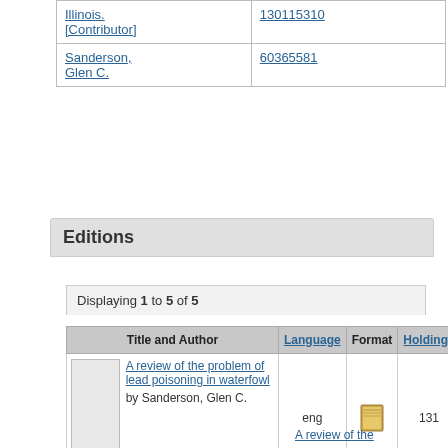|  |  |
| --- | --- |
| Illinois. [Contributor] | 130115310 |
| Sanderson, Glen C. | 60365581 |
Editions
Displaying 1 to 5 of 5
| Title and Author | Language | Format | Holdings | Tag | Class Numb... |
| --- | --- | --- | --- | --- | --- |
| A review of the problem of lead poisoning in waterfowl by Sanderson, Glen C. | eng | [book icon] | 131 | 082
050 | 598.2924
SF994.4.W... |
A review of the